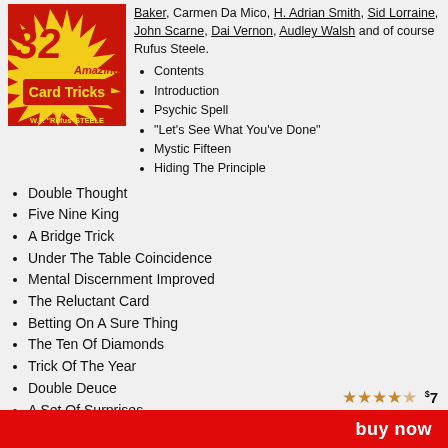[Figure (illustration): Book cover for '32 Amazing Card Tricks' by Rufus Steele, red background with yellow starburst and text]
Baker, Carmen Da Mico, H. Adrian Smith, Sid Lorraine, John Scarne, Dai Vernon, Audley Walsh and of course Rufus Steele.
Contents
Introduction
Psychic Spell
"Let's See What You've Done"
Mystic Fifteen
Hiding The Principle
Double Thought
Five Nine King
A Bridge Trick
Under The Table Coincidence
Mental Discernment Improved
The Reluctant Card
Betting On A Sure Thing
The Ten Of Diamonds
Trick Of The Year
Double Deuce
A Set Of Surprises
Rapid Revelation
Two Souls With But A Single Thought
The Missing Card
A Beginner's...
★★★★☆  $7
buy now